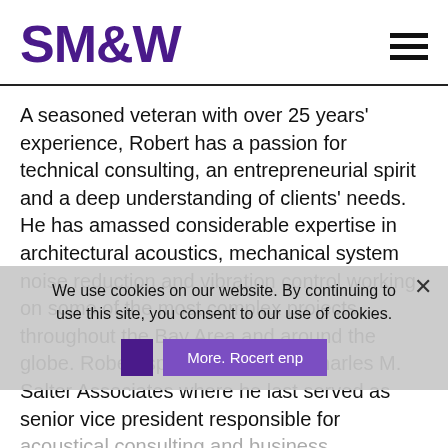SM&W
A seasoned veteran with over 25 years' experience, Robert has a passion for technical consulting, an entrepreneurial spirit and a deep understanding of clients' needs. He has amassed considerable expertise in architectural acoustics, mechanical system noise reduction and vibration control working on some of the most complex projects throughout the Bay Area and around the globe. Robert spent 17 years at Charles M. Salter Associates where he last served as senior vice president responsible for acoustical consulting and business development. He brings the added benefit of having worked as a principal in a real estate development firm. Adept at problem solving, Robert enjoys collaborating with architects, contractors, real estate developers and
We use cookies on our website. By continuing to use this site, you consent to our use of cookies.